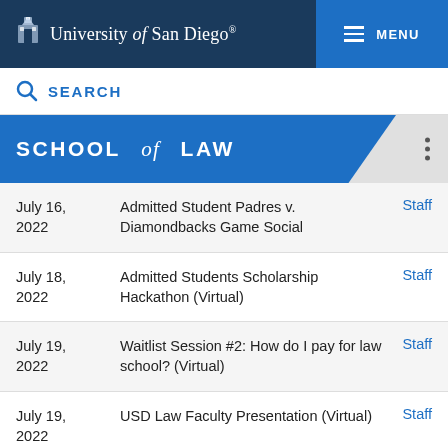University of San Diego — MENU
SEARCH
SCHOOL of LAW
| Date | Event | Audience |
| --- | --- | --- |
| July 16, 2022 | Admitted Student Padres v. Diamondbacks Game Social | Staff |
| July 18, 2022 | Admitted Students Scholarship Hackathon (Virtual) | Staff |
| July 19, 2022 | Waitlist Session #2: How do I pay for law school? (Virtual) | Staff |
| July 19, 2022 | USD Law Faculty Presentation (Virtual) | Staff |